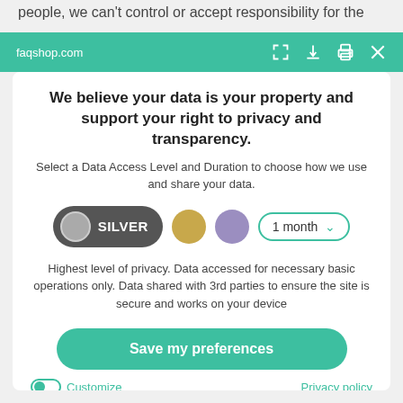people, we can't control or accept responsibility for the
faqshop.com
We believe your data is your property and support your right to privacy and transparency.
Select a Data Access Level and Duration to choose how we use and share your data.
[Figure (infographic): Privacy level selector showing SILVER pill toggle, gold circle, purple circle, and 1 month dropdown]
Highest level of privacy. Data accessed for necessary basic operations only. Data shared with 3rd parties to ensure the site is secure and works on your device
Save my preferences
Customize
Privacy policy